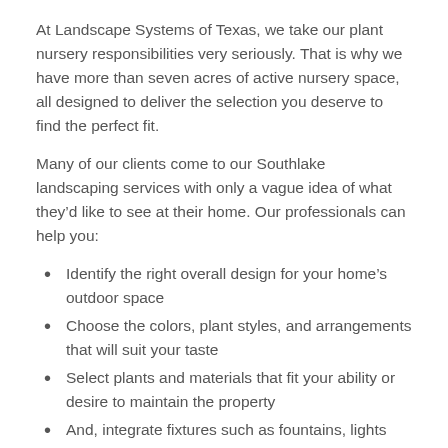At Landscape Systems of Texas, we take our plant nursery responsibilities very seriously. That is why we have more than seven acres of active nursery space, all designed to deliver the selection you deserve to find the perfect fit.
Many of our clients come to our Southlake landscaping services with only a vague idea of what they’d like to see at their home. Our professionals can help you:
Identify the right overall design for your home’s outdoor space
Choose the colors, plant styles, and arrangements that will suit your taste
Select plants and materials that fit your ability or desire to maintain the property
And, integrate fixtures such as fountains, lights and other decoration options.
You can take your garden from shabby to chic, all with the help of our designers, who are among the best at landscaping